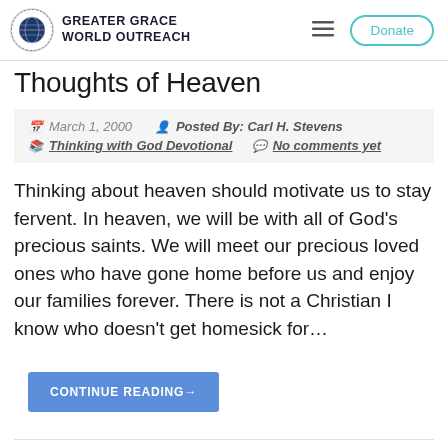GREATER GRACE WORLD OUTREACH
Thoughts of Heaven
March 1, 2000   Posted By: Carl H. Stevens   Thinking with God Devotional   No comments yet
Thinking about heaven should motivate us to stay fervent. In heaven, we will be with all of God’s precious saints. We will meet our precious loved ones who have gone home before us and enjoy our families forever. There is not a Christian I know who doesn’t get homesick for…
CONTINUE READING→